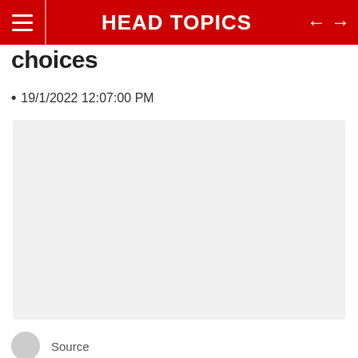HEAD TOPICS
choices
19/1/2022 12:07:00 PM
[Figure (photo): Image placeholder area with light gray background]
Source